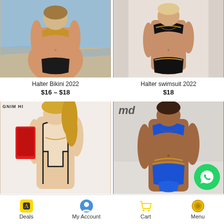[Figure (photo): Woman wearing a gold halter bikini at the beach]
[Figure (photo): Woman wearing a black halter swimsuit with gold chain details]
Halter Bikini 2022
$16 – $18
Halter swimsuit 2022
$18
[Figure (photo): Woman wearing a beige/nude one-piece cutout swimsuit, GNIM HI watermark]
[Figure (photo): Woman wearing a blue halter bikini with gold chain details, md watermark]
Deals  My Account  Cart  Menu